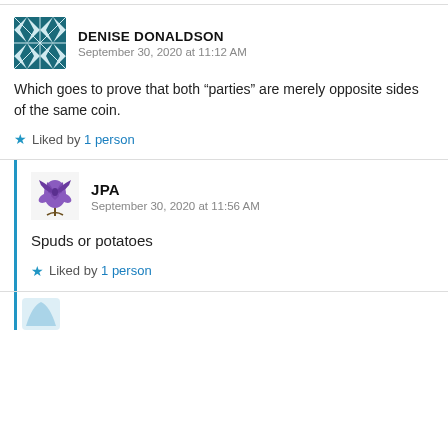DENISE DONALDSON
September 30, 2020 at 11:12 AM
Which goes to prove that both “parties” are merely opposite sides of the same coin.
Liked by 1 person
JPA
September 30, 2020 at 11:56 AM
Spuds or potatoes
Liked by 1 person